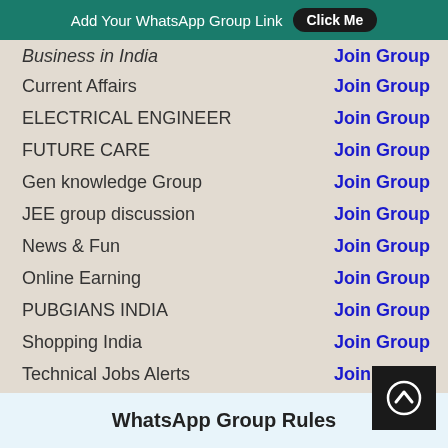Add Your WhatsApp Group Link   Click Me
Business in India   Join Group
Current Affairs   Join Group
ELECTRICAL ENGINEER   Join Group
FUTURE CARE   Join Group
Gen knowledge Group   Join Group
JEE group discussion   Join Group
News & Fun   Join Group
Online Earning   Join Group
PUBGIANS INDIA   Join Group
Shopping India   Join Group
Technical Jobs Alerts   Join Group
Worldwide Shopping   Join Group
PUBG Lovers   Join Group
PUBG Tournaments Daily   Join Group
PUBG WhatsApp Group   Join Group
WhatsApp Group Rules